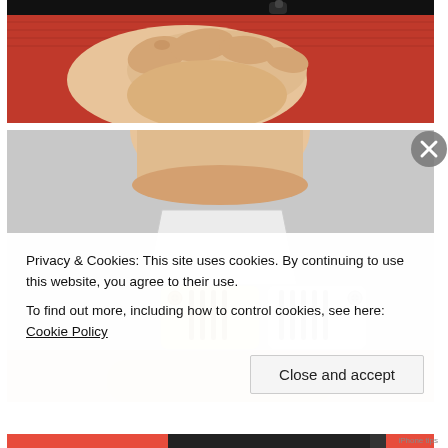[Figure (photo): Close-up photo of a hand/fingers wearing a red sleeve, pinching or holding a small dark object against a red background]
[Figure (photo): Close-up photo of a finger pressing down on a small electronic connector component showing two Lightning-style connector heads with golden and silver pins, on a light gray surface]
Privacy & Cookies: This site uses cookies. By continuing to use this website, you agree to their use.
To find out more, including how to control cookies, see here: Cookie Policy
Close and accept